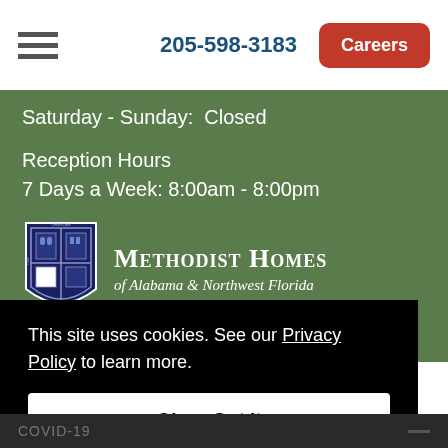205-598-3183  Careers
Saturday - Sunday:  Closed
Reception Hours
7 Days a Week: 8:00am - 8:00pm
[Figure (logo): Methodist Homes of Alabama & Northwest Florida shield logo with cross and building imagery]
This site uses cookies. See our Privacy Policy to learn more.
Okay, Got it
COVID-19